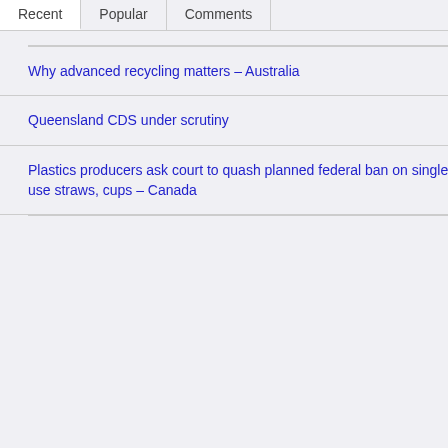Recent | Popular | Comments
Why advanced recycling matters – Australia
Queensland CDS under scrutiny
Plastics producers ask court to quash planned federal ban on single-use straws, cups – Canada
Posted on May 19, 2011 by BRoss...
Source
A Melbourne based waste to energy and integrated resource recovery company provides renewable energy while importantly...
Great Southern Waste Technologies... Melbourne to build a new waste to e... suburbs.
GSWT owner, Craig Gilbert announ... processing hub and will develop the... Melbourne's northern suburbs.
Read more: Biogas engines to con...
"We saw a terrific opportunity to com... hold at GSWT within the local recov... greater success in diverting waste f...